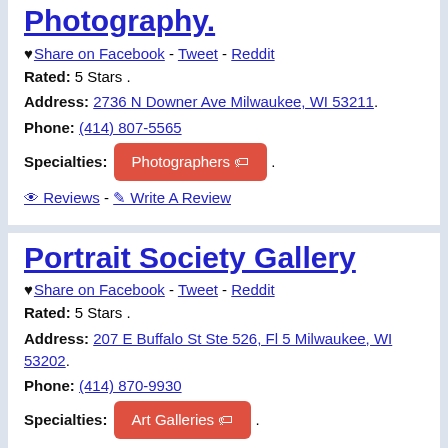Photography.
♥ Share on Facebook - Tweet - Reddit
Rated: 5 Stars .
Address: 2736 N Downer Ave Milwaukee, WI 53211.
Phone: (414) 807-5565
Specialties: Photographers 🏷 .
0 Reviews - ✎ Write A Review
Portrait Society Gallery
♥ Share on Facebook - Tweet - Reddit
Rated: 5 Stars .
Address: 207 E Buffalo St Ste 526, Fl 5 Milwaukee, WI 53202.
Phone: (414) 870-9930
Specialties: Art Galleries 🏷 .